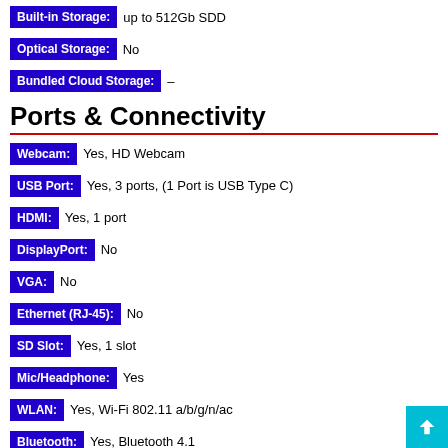Built-in Storage: up to 512Gb SDD
Optical Storage: No
Bundled Cloud Storage: –
Ports & Connectivity
Webcam: Yes, HD Webcam
USB Port: Yes, 3 ports, (1 Port is USB Type C)
HDMI: Yes, 1 port
DisplayPort: No
VGA: No
Ethernet (RJ-45): No
SD Slot: Yes, 1 slot
Mic/Headphone: Yes
WLAN: Yes, Wi-Fi 802.11 a/b/g/n/ac
Bluetooth: Yes, Bluetooth 4.1